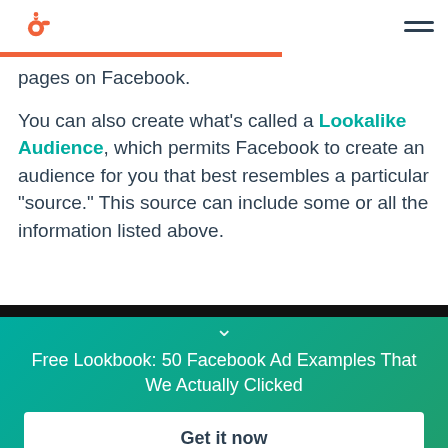HubSpot logo and navigation menu
pages on Facebook.
You can also create what's called a Lookalike Audience, which permits Facebook to create an audience for you that best resembles a particular "source." This source can include some or all the information listed above.
[Figure (infographic): Teal gradient CTA banner with chevron icon, text 'Free Lookbook: 50 Facebook Ad Examples That We Actually Clicked', and a white 'Get it now' button]